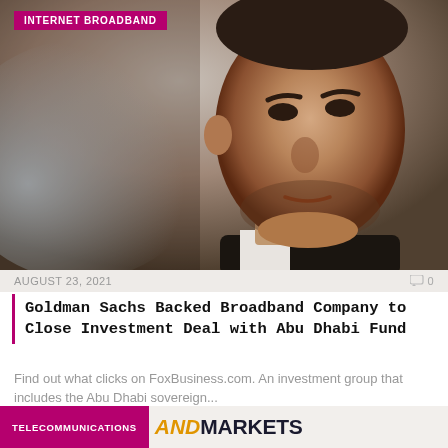INTERNET BROADBAND
[Figure (photo): Close-up photo of a man in a suit looking upward, dark short hair with stubble beard, professional portrait style]
AUGUST 23, 2021
Goldman Sachs Backed Broadband Company to Close Investment Deal with Abu Dhabi Fund
Find out what clicks on FoxBusiness.com. An investment group that includes the Abu Dhabi sovereign...
TELECOMMUNICATIONS
ANDMARKETS